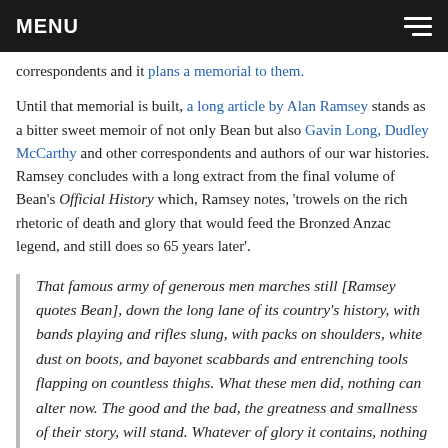MENU
correspondents and it plans a memorial to them.
Until that memorial is built, a long article by Alan Ramsey stands as a bitter sweet memoir of not only Bean but also Gavin Long, Dudley McCarthy and other correspondents and authors of our war histories. Ramsey concludes with a long extract from the final volume of Bean's Official History which, Ramsey notes, 'trowels on the rich rhetoric of death and glory that would feed the Bronzed Anzac legend, and still does so 65 years later'.
That famous army of generous men marches still [Ramsey quotes Bean], down the long lane of its country's history, with bands playing and rifles slung, with packs on shoulders, white dust on boots, and bayonet scabbards and entrenching tools flapping on countless thighs. What these men did, nothing can alter now. The good and the bad, the greatness and smallness of their story, will stand. Whatever of glory it contains, nothing can now lessen. It rises, as it will always rise, above the mists of ages, a